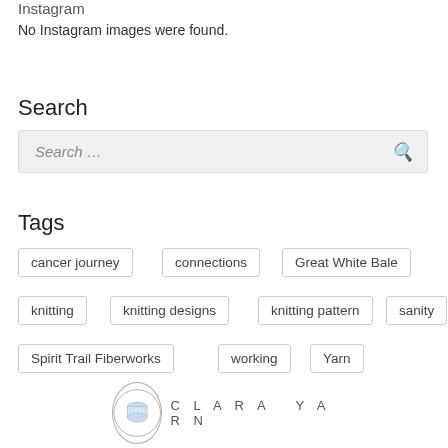Instagram
No Instagram images were found.
Search
Search ...
Tags
cancer journey
connections
Great White Bale
knitting
knitting designs
knitting pattern
sanity
Spirit Trail Fiberworks
working
Yarn
[Figure (logo): Clara Yarn logo: a spool of thread in a circle with text CLARA YARN in spaced capitals]